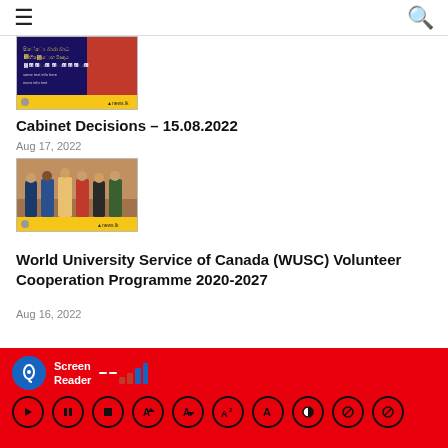≡  🔍
[Figure (screenshot): Partially cropped thumbnail image of a news article with dark blue and red background, yellow text in Sinhala script, and news.lk logo bar at bottom]
Cabinet Decisions – 15.08.2022
Aug 17, 2022
[Figure (photo): Group photo of several people standing in a formal setting with a brown/wood-paneled background, news.lk logo bar at bottom]
World University Service of Canada (WUSC) Volunteer Cooperation Programme 2020-2027
Aug 16, 2022
[Figure (screenshot): Red footer bar with Screen Reader accessibility tool showing signal bars icon, ear icon, and playback control buttons]